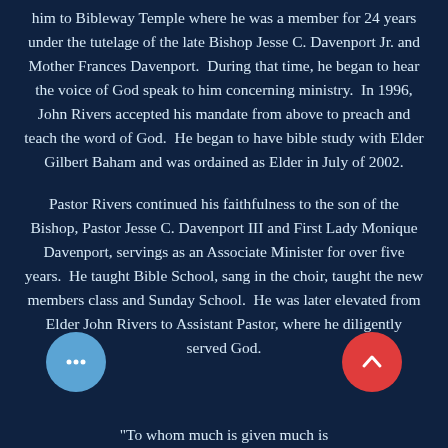him to Bibleway Temple where he was a member for 24 years under the tutelage of the late Bishop Jesse C. Davenport Jr. and Mother Frances Davenport. During that time, he began to hear the voice of God speak to him concerning ministry. In 1996, John Rivers accepted his mandate from above to preach and teach the word of God. He began to have bible study with Elder Gilbert Baham and was ordained as Elder in July of 2002.
Pastor Rivers continued his faithfulness to the son of the Bishop, Pastor Jesse C. Davenport III and First Lady Monique Davenport, servings as an Associate Minister for over five years. He taught Bible School, sang in the choir, taught the new members class and Sunday School. He was later elevated from Elder John Rivers to Assistant Pastor, where he diligently served God.
"To whom much is given much is